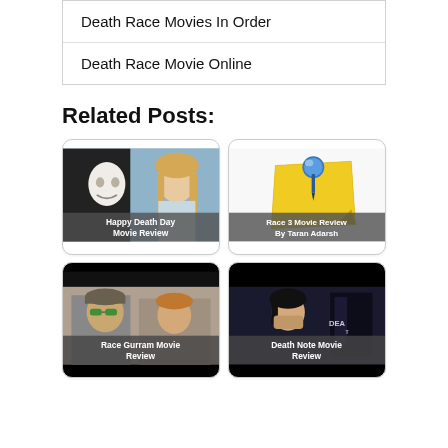Death Race Movies In Order
Death Race Movie Online
Related Posts:
[Figure (photo): Movie still from Happy Death Day showing a masked figure and a blonde woman]
Happy Death Day Movie Review
[Figure (illustration): Blue thumbtack pinned into a yellow sticky note]
Race 3 Movie Review By Taran Adarsh
[Figure (photo): Movie still from Race Gurram showing two men]
Race Gurram Movie Review
[Figure (photo): Movie still from Death Note showing a dark-haired person and Death Note Movie logo]
Death Note Movie Review